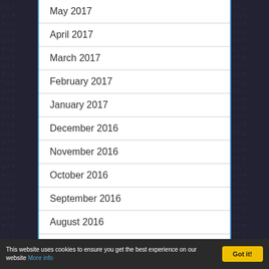May 2017
April 2017
March 2017
February 2017
January 2017
December 2016
November 2016
October 2016
September 2016
August 2016
July 2016
June 2016
This website uses cookies to ensure you get the best experience on our website More info
Got it!